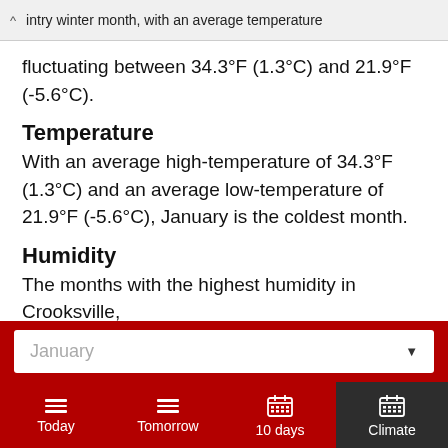intry winter month, with an average temperature
fluctuating between 34.3°F (1.3°C) and 21.9°F (-5.6°C).
Temperature
With an average high-temperature of 34.3°F (1.3°C) and an average low-temperature of 21.9°F (-5.6°C), January is the coldest month.
Humidity
The months with the highest humidity in Crooksville,
January
Today
Tomorrow
10 days
Climate